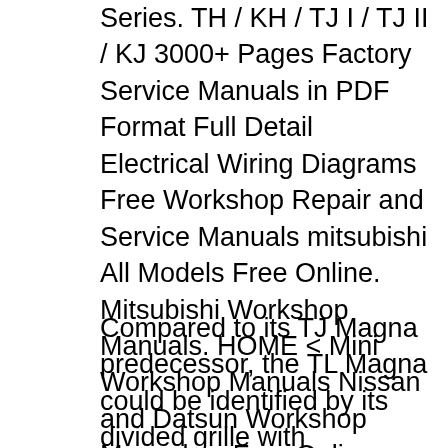Series. TH / KH / TJ I / TJ II / KJ 3000+ Pages Factory Service Manuals in PDF Format Full Detail Electrical Wiring Diagrams Free Workshop Repair and Service Manuals mitsubishi All Models Free Online. Mitsubishi Workshop Manuals. HOME < Mini Workshop Manuals Nissan and Datsun Workshop Manuals > Free Online Service and Repair Manuals for All Models. (2003) Sport 2WD V6 вђ¦
Compared to its TJ Magna predecessor, the TL Magna could be identified by its divided grille with Mitsubishi logo, triangular headlight assemblies, new bumpers, boot lid and rear garnishes. Inside, there was an updated